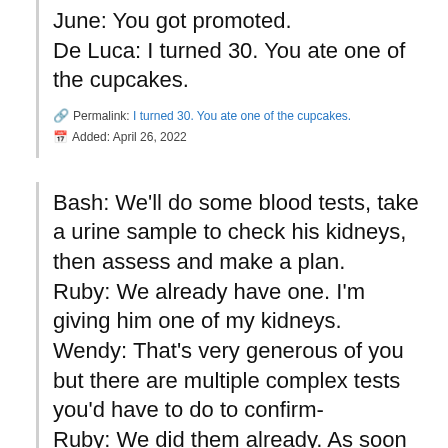June: You got promoted.
De Luca: I turned 30. You ate one of the cupcakes.
Permalink: I turned 30. You ate one of the cupcakes.
Added: April 26, 2022
Bash: We'll do some blood tests, take a urine sample to check his kidneys, then assess and make a plan.
Ruby: We already have one. I'm giving him one of my kidneys.
Wendy: That's very generous of you but there are multiple complex tests you'd have to do to confirm-
Ruby: We did them already. As soon as we learned he had CKD.
Claire: Have you, as one person, before...